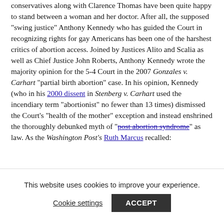conservatives along with Clarence Thomas have been quite happy to stand between a woman and her doctor. After all, the supposed "swing justice" Anthony Kennedy who has guided the Court in recognizing rights for gay Americans has been one of the harshest critics of abortion access. Joined by Justices Alito and Scalia as well as Chief Justice John Roberts, Anthony Kennedy wrote the majority opinion for the 5-4 Court in the 2007 Gonzales v. Carhart "partial birth abortion" case. In his opinion, Kennedy (who in his 2000 dissent in Stenberg v. Carhart used the incendiary term "abortionist" no fewer than 13 times) dismissed the Court's "health of the mother" exception and instead enshrined the thoroughly debunked myth of "post abortion syndrome" as law. As the Washington Post's Ruth Marcus recalled:
"Respect for human life finds an ultimate...
This website uses cookies to improve your experience.
Cookie settings   ACCEPT